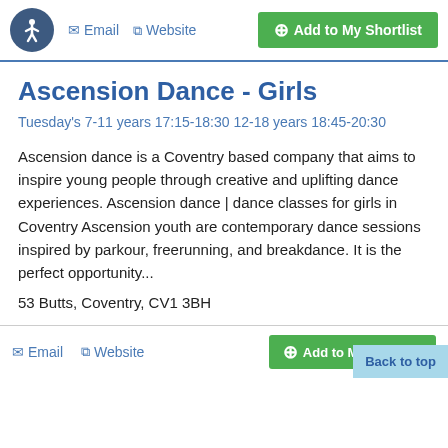Email  Website  Add to My Shortlist
Ascension Dance - Girls
Tuesday's 7-11 years 17:15-18:30 12-18 years 18:45-20:30
Ascension dance is a Coventry based company that aims to inspire young people through creative and uplifting dance experiences. Ascension dance | dance classes for girls in Coventry Ascension youth are contemporary dance sessions inspired by parkour, freerunning, and breakdance. It is the perfect opportunity...
53 Butts, Coventry, CV1 3BH
Email  Website  Add to My Shortlist  Back to top